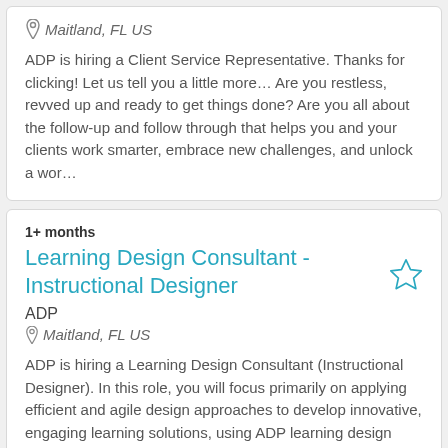Maitland, FL US
ADP is hiring a Client Service Representative. Thanks for clicking! Let us tell you a little more… Are you restless, revved up and ready to get things done? Are you all about the follow-up and follow through that helps you and your clients work smarter, embrace new challenges, and unlock a wor…
1+ months
Learning Design Consultant - Instructional Designer
ADP
Maitland, FL US
ADP is hiring a Learning Design Consultant (Instructional Designer). In this role, you will focus primarily on applying efficient and agile design approaches to develop innovative, engaging learning solutions, using ADP learning design standards and tools, to meet the learning needs of ADP associate…